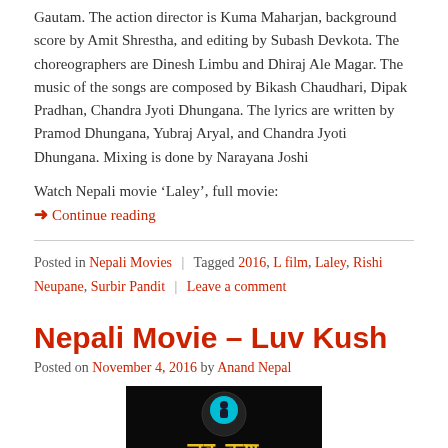Gautam. The action director is Kuma Maharjan, background score by Amit Shrestha, and editing by Subash Devkota. The choreographers are Dinesh Limbu and Dhiraj Ale Magar. The music of the songs are composed by Bikash Chaudhari, Dipak Pradhan, Chandra Jyoti Dhungana. The lyrics are written by Pramod Dhungana, Yubraj Aryal, and Chandra Jyoti Dhungana. Mixing is done by Narayana Joshi
Watch Nepali movie ‘Laley’, full movie:
➜ Continue reading
Posted in Nepali Movies | Tagged 2016, L film, Laley, Rishi Neupane, Surbir Pandit | Leave a comment
Nepali Movie – Luv Kush
Posted on November 4, 2016 by Anand Nepal
[Figure (photo): Movie title card for Luv Kush showing a circular logo with a figure and text in Devanagari script on a dark/black background]